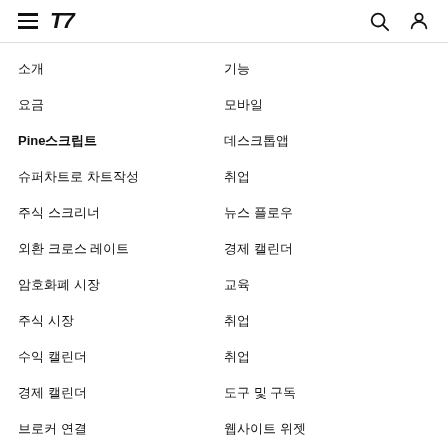TradingView navigation menu
소개
기능
Pine스크립트
슈퍼차트로 차트작성
주식 스크리너
외환 크로스 레이트
암호화폐 시장
뉴스 플로우
경제 캘린더
수익 캘린더
주식 시장
펀드
아이디어
스크립트
교육
취업
취업
도구 및 구독
요금제
모바일 앱
데스크톱 앱
브로커 연결
웹사이트 위젯